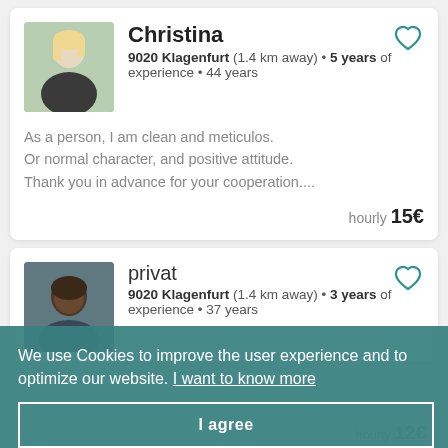Christina
9020 Klagenfurt (1.4 km away) • 5 years of experience • 44 years
As a person, I am clean and meticulos.
Or normal character, and positive attitude.
Thank you in advance for your cooperation....
hourly 15€
privat
9020 Klagenfurt (1.4 km away) • 3 years of experience • 37 years
I have 3 years of work experience in cleaning and ironing from my home country.I really this job to support my family back home
hourly 12€
We use Cookies to improve the user experience and to optimize our website. I want to know more
I agree